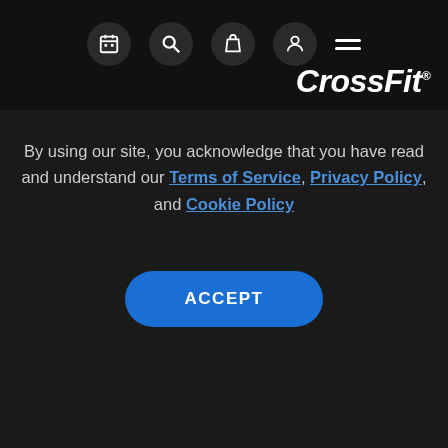CrossFit
Bad Science and Financial Conflicts of Interest Plague the FDA’s Investigation Into “Grain-
By using our site, you acknowledge that you have read and understand our Terms of Service, Privacy Policy, and Cookie Policy
ACCEPT